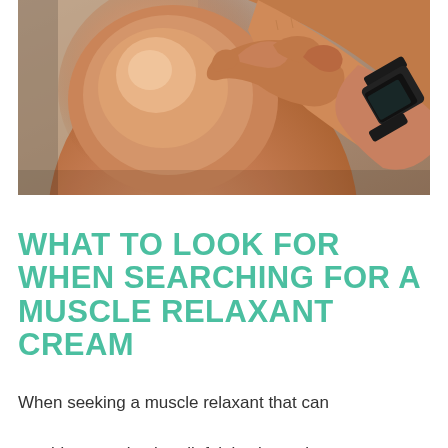[Figure (photo): Close-up photo of a shirtless person with a muscular arm touching or rubbing their shoulder, wearing a smartwatch on their wrist. Warm skin tones with a blurred background.]
WHAT TO LOOK FOR WHEN SEARCHING FOR A MUSCLE RELAXANT CREAM
When seeking a muscle relaxant that can provide natural pain relief, it is always important